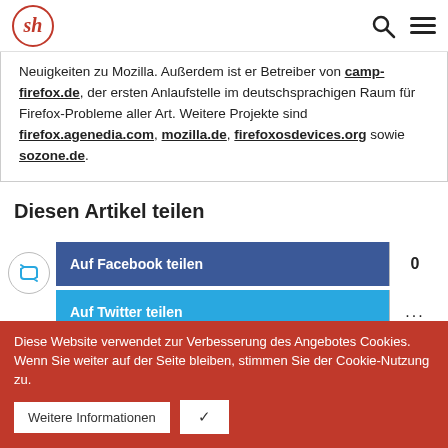sh
Neuigkeiten zu Mozilla. Außerdem ist er Betreiber von camp-firefox.de, der ersten Anlaufstelle im deutschsprachigen Raum für Firefox-Probleme aller Art. Weitere Projekte sind firefox.agenedia.com, mozilla.de, firefoxosdevices.org sowie sozone.de.
Diesen Artikel teilen
[Figure (other): Social share buttons: Auf Facebook teilen (count: 0) and Auf Twitter teilen (count: ...)]
Diese Website verwendet zur Verbesserung des Angebotes Cookies. Wenn Sie weiter auf der Seite bleiben, stimmen Sie der Cookie-Nutzung zu.
Weitere Informationen
✓